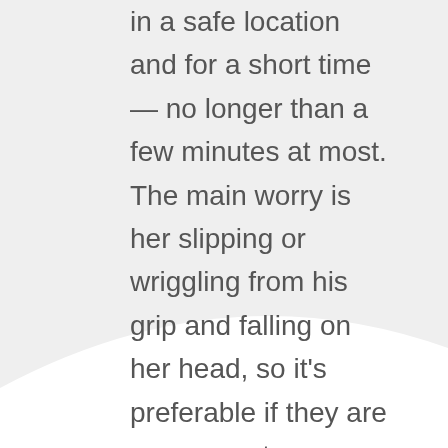in a safe location and for a short time — no longer than a few minutes at most. The main worry is her slipping or wriggling from his grip and falling on her head, so it's preferable if they are over carpet or a mat, rather than over a hard surface (wood, tile, concrete, etc.).

The risk of her being